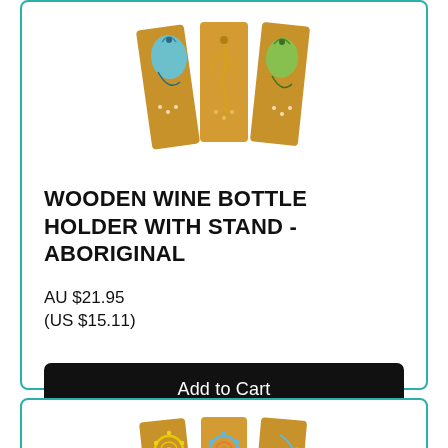[Figure (photo): Wooden wine bottle holders with Aboriginal art painted on wood pieces, featuring bird/lizard motifs in blue and green]
WOODEN WINE BOTTLE HOLDER WITH STAND - ABORIGINAL
AU $21.95
(US $15.11)
Add to Cart
[Figure (photo): Wooden wine bottle holders with Aboriginal art painted on wood pieces, featuring circular dot art motifs in yellow and blue]